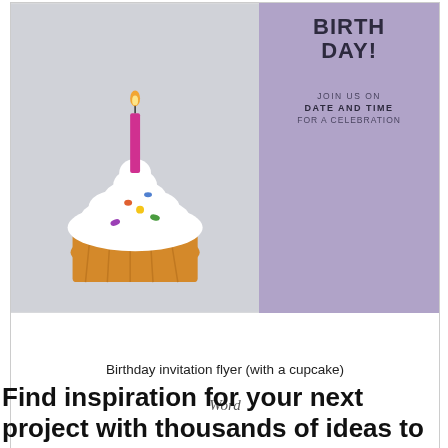[Figure (illustration): Birthday invitation flyer thumbnail showing a cupcake with a pink candle on the left (grey/light blue background) and a purple right panel with text: BIRTHDAY!, JOIN US ON, DATE AND TIME, FOR A CELEBRATION]
Birthday invitation flyer (with a cupcake)
Word
Find inspiration for your next project with thousands of ideas to choose from